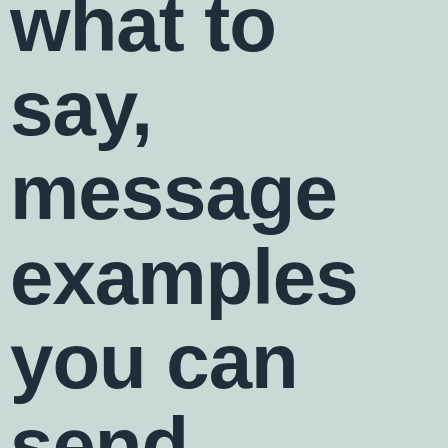what to say, message examples you can send today, and tips to stand out and make